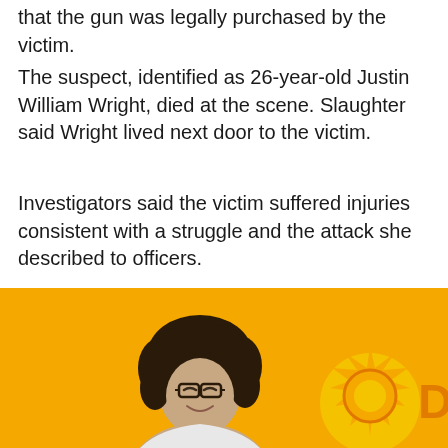that the gun was legally purchased by the victim.
The suspect, identified as 26-year-old Justin William Wright, died at the scene. Slaughter said Wright lived next door to the victim.
Investigators said the victim suffered injuries consistent with a struggle and the attack she described to officers.
Police said it is not yet known how Wright got into the home.
Taboola Feed
[Figure (photo): Advertisement image on yellow/orange background showing a woman with curly hair and glasses smiling, with a stylized logo or graphic element partially visible on the right side.]